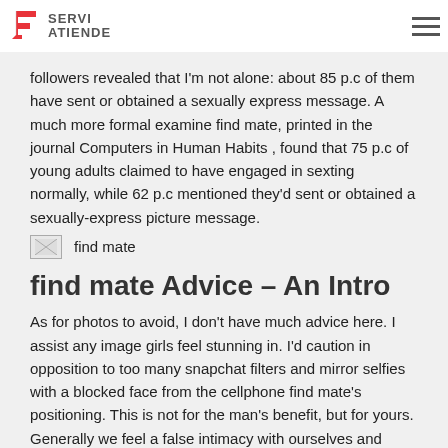SERVI ATIENDE
followers revealed that I'm not alone: about 85 p.c of them have sent or obtained a sexually express message. A much more formal examine find mate, printed in the journal Computers in Human Habits , found that 75 p.c of young adults claimed to have engaged in sexting normally, while 62 p.c mentioned they'd sent or obtained a sexually-express picture message.
find mate
find mate Advice – An Intro
As for photos to avoid, I don't have much advice here. I assist any image girls feel stunning in. I'd caution in opposition to too many snapchat filters and mirror selfies with a blocked face from the cellphone find mate's positioning. This is not for the man's benefit, but for yours. Generally we feel a false intimacy with ourselves and hiding in our photos can emotionally drive us to disassociate from our own realities.
As for the actual brides, they may differ so much depending on the platform you be part of. Some sites take care of whole continents, while others persist with just one country. Both approaches have their plusses and minuses — on the one hand